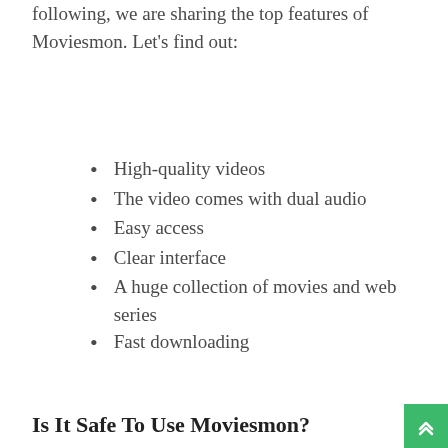following, we are sharing the top features of Moviesmon. Let's find out:
High-quality videos
The video comes with dual audio
Easy access
Clear interface
A huge collection of movies and web series
Fast downloading
Is It Safe To Use Moviesmon?